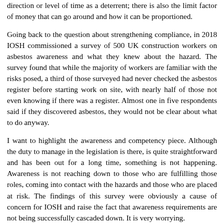factor of money that can go around and how it can be proportioned.
Going back to the question about strengthening compliance, in 2018 IOSH commissioned a survey of 500 UK construction workers on asbestos awareness and what they knew about the hazard. The survey found that while the majority of workers are familiar with the risks posed, a third of those surveyed had never checked the asbestos register before starting work on site, with nearly half of those not even knowing if there was a register. Almost one in five respondents said if they discovered asbestos, they would not be clear about what to do anyway.
I want to highlight the awareness and competency piece. Although the duty to manage in the legislation is there, is quite straightforward and has been out for a long time, something is not happening. Awareness is not reaching down to those who are fulfilling those roles, coming into contact with the hazards and those who are placed at risk. The findings of this survey were obviously a cause of concern for IOSH and raise the fact that awareness requirements are not being successfully cascaded down. It is very worrying.
I would like to mention something else as we are talking about the HSE and what more could be done. I know HSE chairs what is now called the Asbestos Network. IOSH is represented in that network, but this is where the HSE chairs and engages with lots